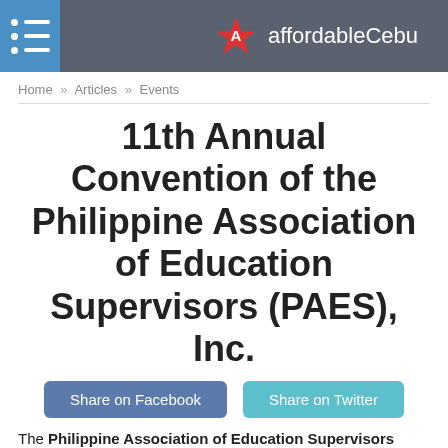affordableCebu
Home » Articles » Events
11th Annual Convention of the Philippine Association of Education Supervisors (PAES), Inc.
[Figure (other): Share on Facebook and Share on Twitter buttons]
The Philippine Association of Education Supervisors (PAES), Inc. will hold its 11th Annual Convention with the theme, "ES: The Caring Educators with a Mission for Learners' Excellence" at the Mimosa, Clark, Pampanga on February 1-3, 2012.